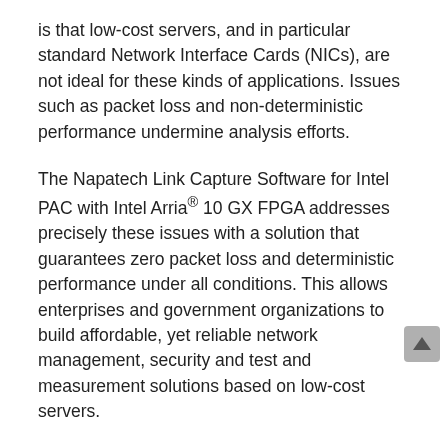is that low-cost servers, and in particular standard Network Interface Cards (NICs), are not ideal for these kinds of applications. Issues such as packet loss and non-deterministic performance undermine analysis efforts.
The Napatech Link Capture Software for Intel PAC with Intel Arria® 10 GX FPGA addresses precisely these issues with a solution that guarantees zero packet loss and deterministic performance under all conditions. This allows enterprises and government organizations to build affordable, yet reliable network management, security and test and measurement solutions based on low-cost servers.
The Napatech / Intel difference
The Intel PAC and Napatech Link Capture Software solution is designed to ensure that no packets are lost under any circumstances. Packet loss can occur